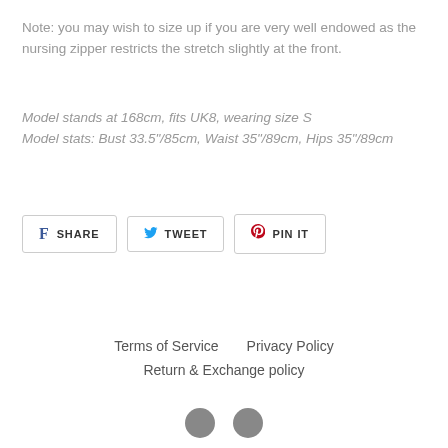Note: you may wish to size up if you are very well endowed as the nursing zipper restricts the stretch slightly at the front.
Model stands at 168cm, fits UK8, wearing size S Model stats: Bust 33.5"/85cm, Waist 35"/89cm, Hips 35"/89cm
SHARE  TWEET  PIN IT
Terms of Service    Privacy Policy    Return & Exchange policy